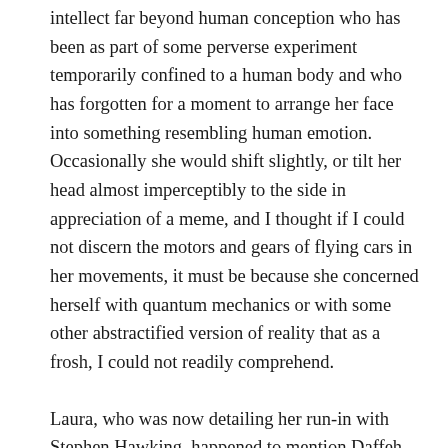intellect far beyond human conception who has been as part of some perverse experiment temporarily confined to a human body and who has forgotten for a moment to arrange her face into something resembling human emotion. Occasionally she would shift slightly, or tilt her head almost imperceptibly to the side in appreciation of a meme, and I thought if I could not discern the motors and gears of flying cars in her movements, it must be because she concerned herself with quantum mechanics or with some other abstractified version of reality that as a frosh, I could not readily comprehend.
Laura, who was now detailing her run-in with Stephen Hawking, happened to mention Daffeh. “Daffeh?” said Nadia, her face twisting into a lopsided smirk. “That Flem who is always hanging around Crellin Lounge? I don’t know how he still hasn’t gotten the hint that no one likes him. He acts like a full cryp, even though he’s just got a social membership. He’s always asking me about how to get through such and such a